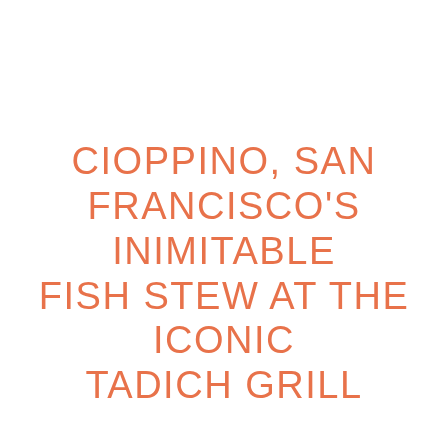CIOPPINO, SAN FRANCISCO'S INIMITABLE FISH STEW AT THE ICONIC TADICH GRILL